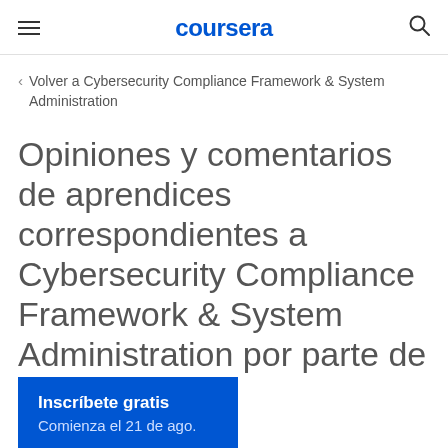coursera
Volver a Cybersecurity Compliance Framework & System Administration
Opiniones y comentarios de aprendices correspondientes a Cybersecurity Compliance Framework & System Administration por parte de IBM
Inscríbete gratis
Comienza el 21 de ago.